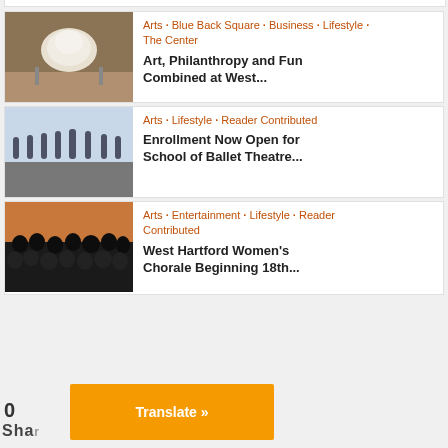[Figure (photo): Partial top of a card, showing image at the very top of the page]
Arts · Blue Back Square · Business · Lifestyle · The Center
Art, Philanthropy and Fun Combined at West...
Arts · Lifestyle · Reader Contributed
Enrollment Now Open for School of Ballet Theatre...
Arts · Entertainment · Lifestyle · Reader Contributed
West Hartford Women's Chorale Beginning 18th...
0
Shares
Translate »